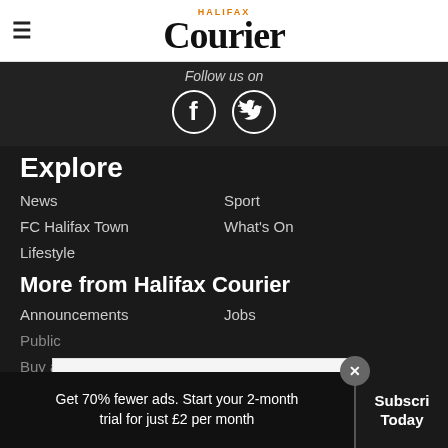Halifax Courier
Follow us on
[Figure (illustration): Facebook and Twitter social media icons in white circles on dark background]
Explore
News
Sport
FC Halifax Town
What's On
Lifestyle
More from Halifax Courier
Announcements
Jobs
Public
Buy a P
[Figure (screenshot): Walgreens Photo advertisement: Summer Sun Care Savings]
Get 70% fewer ads. Start your 2-month trial for just £2 per month
Subscribe Today